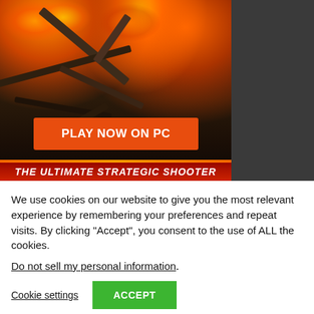[Figure (illustration): Advertisement for a military/war game showing fiery destruction scene with wooden debris, flames, and a large orange 'PLAY NOW ON PC' button. A red banner at the bottom reads 'THE ULTIMATE STRATEGIC SHOOTER']
We use cookies on our website to give you the most relevant experience by remembering your preferences and repeat visits. By clicking “Accept”, you consent to the use of ALL the cookies.
Do not sell my personal information.
Cookie settings
ACCEPT